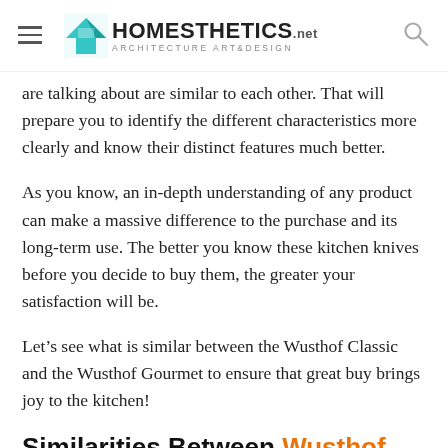Homesthetics — Architecture Art & Design
are talking about are similar to each other. That will prepare you to identify the different characteristics more clearly and know their distinct features much better.
As you know, an in-depth understanding of any product can make a massive difference to the purchase and its long-term use. The better you know these kitchen knives before you decide to buy them, the greater your satisfaction will be.
Let’s see what is similar between the Wusthof Classic and the Wusthof Gourmet to ensure that great buy brings joy to the kitchen!
Similarities Between Wusthof Classic